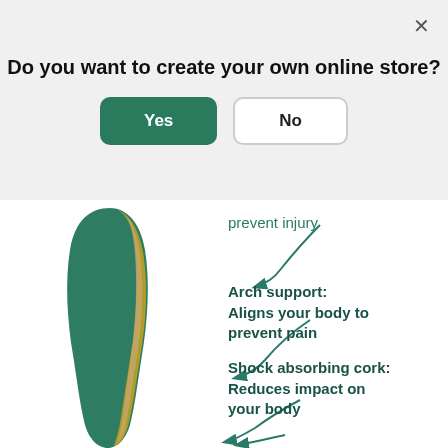[Figure (screenshot): A modal dialog overlay on top of a product page showing a shoe insole with annotations. The modal asks 'Do you want to create your own online store?' with Yes (green) and No (outlined) buttons and an X close button. Behind the modal is a green and yellow shoe insole with callout arrows pointing to features: 'prevent injury', 'Arch support: Aligns your body to prevent pain', 'Shock absorbing cork: Reduces impact on your body', and a partial fourth arrow at the bottom.]